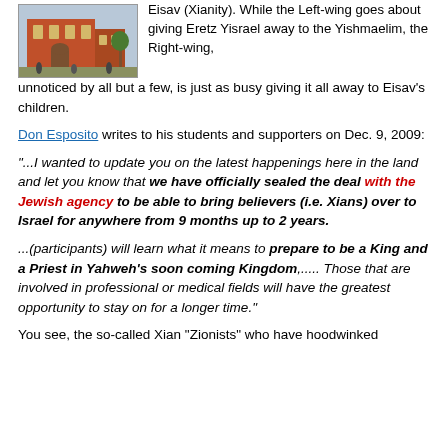[Figure (photo): A painting or illustration of a red/orange multi-story building with arched entrance and people in the foreground near a fountain or courtyard.]
Eisav (Xianity). While the Left-wing goes about giving Eretz Yisrael away to the Yishmaelim, the Right-wing, unnoticed by all but a few, is just as busy giving it all away to Eisav's children.
Don Esposito writes to his students and supporters on Dec. 9, 2009:
"...I wanted to update you on the latest happenings here in the land and let you know that we have officially sealed the deal with the Jewish agency to be able to bring believers (i.e. Xians) over to Israel for anywhere from 9 months up to 2 years.
...(participants) will learn what it means to prepare to be a King and a Priest in Yahweh's soon coming Kingdom,.... Those that are involved in professional or medical fields will have the greatest opportunity to stay on for a longer time."
You see, the so-called Xian "Zionists" who have hoodwinked